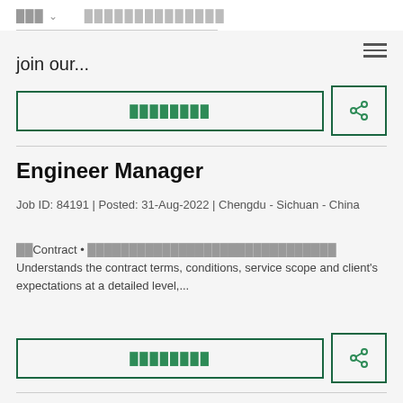███ ▾   ██████████████
join our...
████████
Engineer Manager
Job ID: 84191 | Posted: 31-Aug-2022 | Chengdu - Sichuan - China
██Contract • ██████████████████████████████ Understands the contract terms, conditions, service scope and client's expectations at a detailed level,...
████████